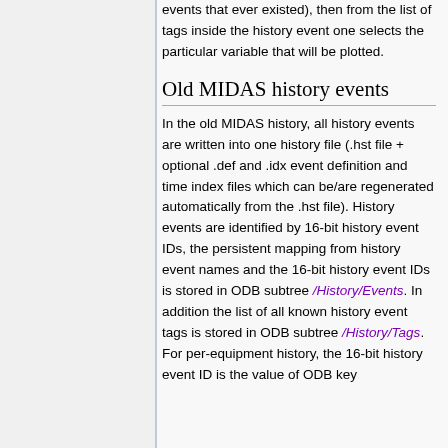events that ever existed), then from the list of tags inside the history event one selects the particular variable that will be plotted.
Old MIDAS history events
In the old MIDAS history, all history events are written into one history file (.hst file + optional .def and .idx event definition and time index files which can be/are regenerated automatically from the .hst file). History events are identified by 16-bit history event IDs, the persistent mapping from history event names and the 16-bit history event IDs is stored in ODB subtree /History/Events. In addition the list of all known history event tags is stored in ODB subtree /History/Tags. For per-equipment history, the 16-bit history event ID is the value of ODB key